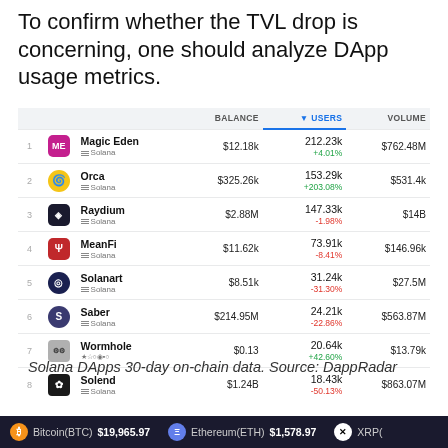To confirm whether the TVL drop is concerning, one should analyze DApp usage metrics.
|  |  | NAME | BALANCE | USERS | VOLUME |
| --- | --- | --- | --- | --- | --- |
| 1 |  | Magic Eden / Solana | $12.18k | 212.23k +4.01% | $762.48M |
| 2 |  | Orca / Solana | $325.26k | 153.29k +203.08% | $531.4k |
| 3 |  | Raydium / Solana | $2.88M | 147.33k -1.98% | $14B |
| 4 |  | MeanFi / Solana | $11.62k | 73.91k -8.41% | $146.96k |
| 5 |  | Solanart / Solana | $8.51k | 31.24k -31.30% | $27.5M |
| 6 |  | Saber / Solana | $214.95M | 24.21k -22.86% | $563.87M |
| 7 |  | Wormhole / multi | $0.13 | 20.64k +42.60% | $13.79k |
| 8 |  | Solend / Solana | $1.24B | 18.43k -50.13% | $863.07M |
Solana DApps 30-day on-chain data. Source: DappRadar
As shown by DappRadar data on April 8, the number of
Bitcoin(BTC) $19,965.97   Ethereum(ETH) $1,578.97   XRP(